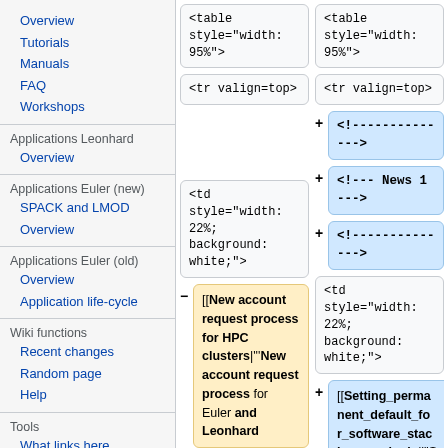Overview
Tutorials
Manuals
FAQ
Workshops
Applications Leonhard
Overview
Applications Euler (new)
SPACK and LMOD
Overview
Applications Euler (old)
Overview
Application life-cycle
Wiki functions
Recent changes
Random page
Help
Tools
What links here
Related changes
Special pages
<table style="width: 95%">
<table style="width: 95%">
<tr valign=top>
<tr valign=top>
<!--------------->
<!-- News 1 -->
<!--------------->
<td style="width: 22%; background: white;">
<td style="width: 22%; background: white;">
[[New account request process for HPC clusters|'''New account request process for Euler and Leonhard
[[Setting_permanent_default_for_software_stack_upon_login|'''Script to set a permanent default for software stack